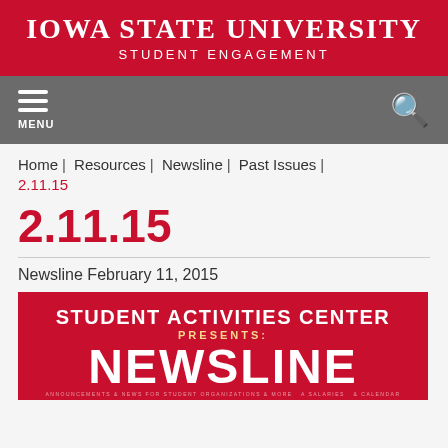Iowa State University Student Engagement
[Figure (screenshot): Gray navigation bar with hamburger menu icon labeled MENU on left and search icon on right]
Home | Resources | Newsline | Past Issues | 2.11.15
2.11.15
Newsline February 11, 2015
[Figure (infographic): Red banner reading 'Student Activities Center presents: NEWSLINE' with decorative text at bottom]